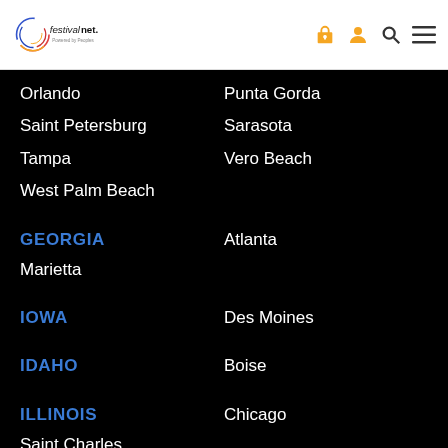[Figure (logo): FestivalNet logo - circular multicolor icon with 'festivalnet.' text and 'Powered by Peoples' tagline]
Orlando
Punta Gorda
Saint Petersburg
Sarasota
Tampa
Vero Beach
West Palm Beach
GEORGIA
Atlanta
Marietta
IOWA
Des Moines
IDAHO
Boise
ILLINOIS
Chicago
Saint Charles